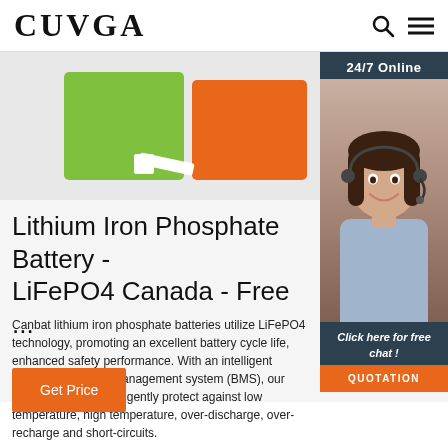CUVGA
[Figure (photo): Product photo of Canbat lithium iron phosphate (LiFePO4) batteries — green and orange rectangular battery packs on a white background, with connector wire visible. Overlaid in the top-right corner is a customer service widget showing '24/7 Online', a photo of a female customer service representative wearing a headset, 'Click here for free chat!' text, and an orange 'QUOTATION' button.]
Lithium Iron Phosphate Battery - LiFePO4 Canada - Free ...
Canbat lithium iron phosphate batteries utilize LiFePO4 technology, promoting an excellent battery cycle life, enhanced safety performance. With an intelligent embedded battery management system (BMS), our lithium batteries intelligently protect against low temperature, high temperature, over-discharge, over-recharge and short-circuits.
Get Price